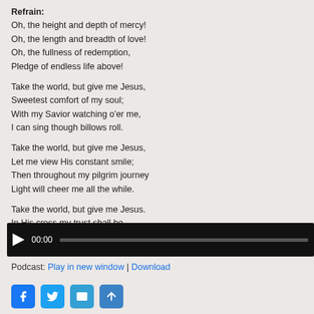Refrain:
Oh, the height and depth of mercy!
Oh, the length and breadth of love!
Oh, the fullness of redemption,
Pledge of endless life above!

Take the world, but give me Jesus,
Sweetest comfort of my soul;
With my Savior watching o'er me,
I can sing though billows roll.

Take the world, but give me Jesus,
Let me view His constant smile;
Then throughout my pilgrim journey
Light will cheer me all the while.

Take the world, but give me Jesus.
In His cross my trust shall be,
Till, with clearer, brighter vision,
Face to face my Lord I see.
[Figure (other): Audio player with play button, 00:00 timestamp, and progress bar on dark background]
Podcast: Play in new window | Download
[Figure (other): Social sharing icons: Facebook, Twitter, Email, Share]